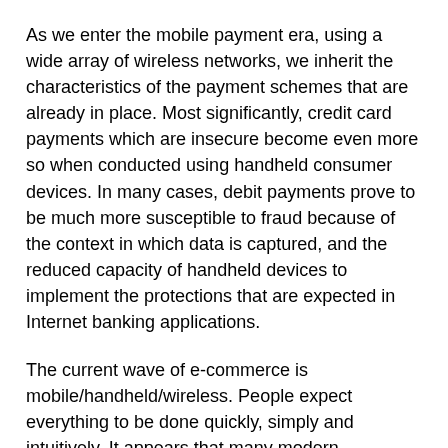As we enter the mobile payment era, using a wide array of wireless networks, we inherit the characteristics of the payment schemes that are already in place. Most significantly, credit card payments which are insecure become even more so when conducted using handheld consumer devices. In many cases, debit payments prove to be much more susceptible to fraud because of the context in which data is captured, and the reduced capacity of handheld devices to implement the protections that are expected in Internet banking applications.
The current wave of e-commerce is mobile/handheld/wireless. People expect everything to be done quickly, simply and intuitively. It appears that many modern consumers have a cavalier attitude to risk even when making payments, and particularly when making frequent payments of relatively small sums of money.
The chip inside Hong Kong's Octopus Card, which has been in use for a decade, is now inside many Japanese mobile phones. RFID Tags for paying road tolls are well-established.